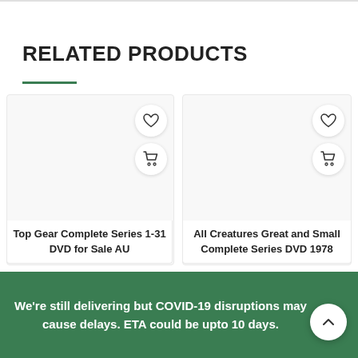RELATED PRODUCTS
[Figure (screenshot): Product card for Top Gear Complete Series 1-31 DVD for Sale AU with heart and cart icons]
Top Gear Complete Series 1-31 DVD for Sale AU
[Figure (screenshot): Product card for All Creatures Great and Small Complete Series DVD 1978 with heart and cart icons]
All Creatures Great and Small Complete Series DVD 1978
We're still delivering but COVID-19 disruptions may cause delays. ETA could be upto 10 days.